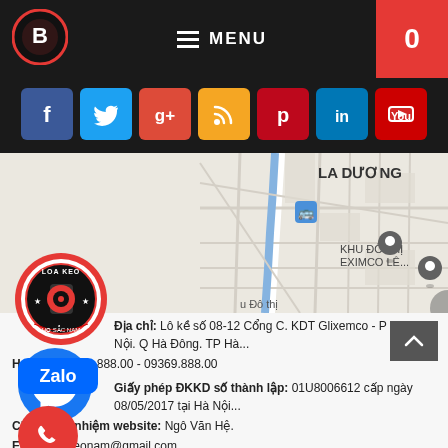MENU 0
[Figure (other): Social media icon buttons: Facebook, Twitter, Google+, RSS, Pinterest, LinkedIn, YouTube on dark background]
[Figure (map): Google Maps showing LA DUONG area with KHU DO THI EXIMCO LE... location marker, bus stop icon, and other map markers]
[Figure (logo): LOA KEO logo - circular red badge with speaker icon]
[Figure (other): Facebook Messenger floating button - blue circle with messenger icon]
[Figure (other): Zalo floating button - blue rounded rectangle with Zalo text]
[Figure (other): Phone call floating button - red circle with phone icon]
Địa chỉ: Lô kề số 08-12 Cổng C. KDT Glixemco - P Dương Nội. Q Hà Đông. TP Hà...
Hotline: 09489.888.00 - 09369.888.00
Giấy phép ĐKKD số thành lập: 01U8006612 cấp ngày 08/05/2017 tại Hà Nội...
Chịu trách nhiệm website: Ngô Văn Hệ.
Email: loakeonam@gmail.com